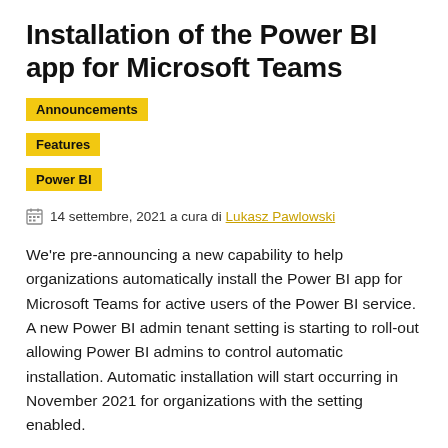Installation of the Power BI app for Microsoft Teams
Announcements
Features
Power BI
14 settembre, 2021 a cura di Lukasz Pawlowski
We're pre-announcing a new capability to help organizations automatically install the Power BI app for Microsoft Teams for active users of the Power BI service. A new Power BI admin tenant setting is starting to roll-out allowing Power BI admins to control automatic installation. Automatic installation will start occurring in November 2021 for organizations with the setting enabled.